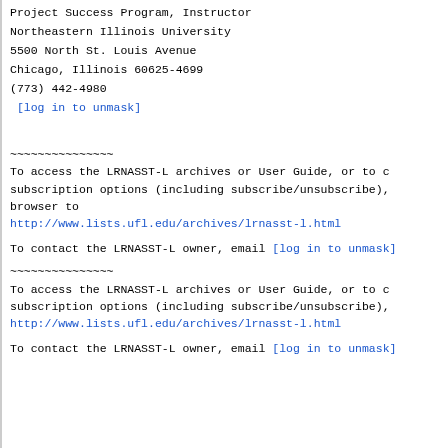Project Success Program, Instructor
Northeastern Illinois University
5500 North St. Louis Avenue
Chicago, Illinois  60625-4699
(773) 442-4980
[log in to unmask]
~~~~~~~~~~~~~~~
To access the LRNASST-L archives or User Guide, or to c
subscription options (including subscribe/unsubscribe),
browser to
http://www.lists.ufl.edu/archives/lrnasst-l.html
To contact the LRNASST-L owner, email [log in to unmask]
~~~~~~~~~~~~~~~
To access the LRNASST-L archives or User Guide, or to c
subscription options (including subscribe/unsubscribe),
http://www.lists.ufl.edu/archives/lrnasst-l.html
To contact the LRNASST-L owner, email [log in to unmask]